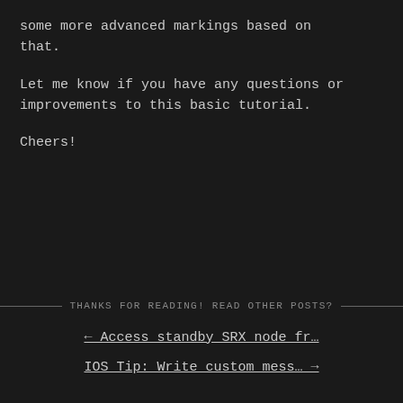some more advanced markings based on that.
Let me know if you have any questions or improvements to this basic tutorial.
Cheers!
THANKS FOR READING! READ OTHER POSTS?
← Access standby SRX node fr…
IOS Tip: Write custom mess… →